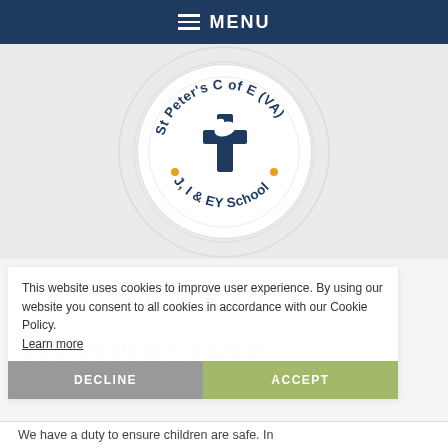MENU
[Figure (logo): St Peter's C of E (VA) J, I & EY School circular logo with a cross in the centre and orange dots as separators]
This website uses cookies to improve user experience. By using our website you consent to all cookies in accordance with our Cookie Policy. Learn more
Safeguarding
Information
DECLINE
ACCEPT
We have a duty to ensure children are safe. In